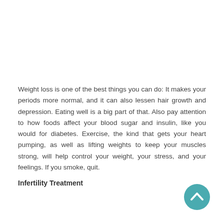Weight loss is one of the best things you can do: It makes your periods more normal, and it can also lessen hair growth and depression. Eating well is a big part of that. Also pay attention to how foods affect your blood sugar and insulin, like you would for diabetes. Exercise, the kind that gets your heart pumping, as well as lifting weights to keep your muscles strong, will help control your weight, your stress, and your feelings. If you smoke, quit.
Infertility Treatment
[Figure (other): Teal circular scroll-to-top button with white upward chevron arrow]